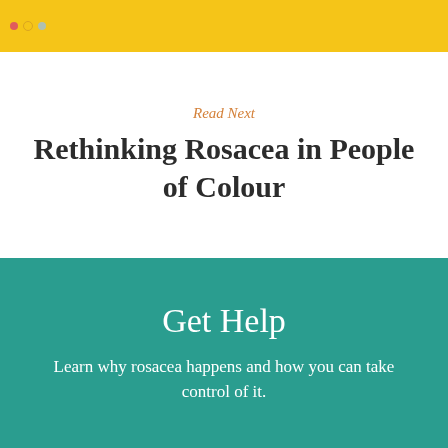Read Next
Rethinking Rosacea in People of Colour
Get Help
Learn why rosacea happens and how you can take control of it.